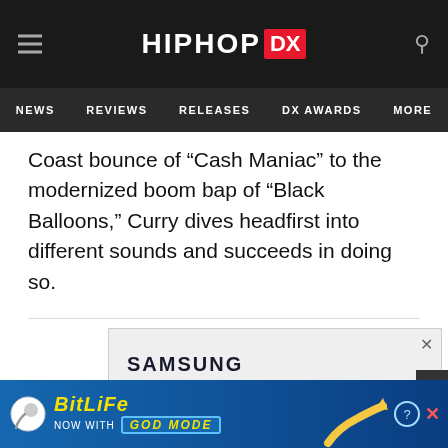HIPHOP DX — NEWS | REVIEWS | RELEASES | DX AWARDS | MORE
Coast bounce of “Cash Maniac” to the modernized boom bap of “Black Balloons,” Curry dives headfirst into different sounds and succeeds in doing so.
[Figure (screenshot): Samsung advertisement: Pre-order now, Get a Wireless Charger Single on us, with image of Galaxy Buds earbuds in lavender/black]
[Figure (screenshot): BitLife mobile game advertisement: Now with God Mode, featuring coin/sperm icon and pointing hand emoji]